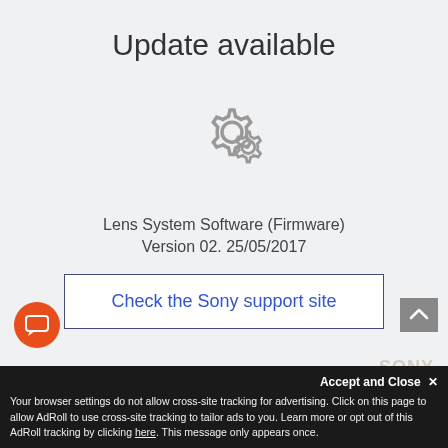Update available
[Figure (illustration): Two overlapping gear/settings icons in grey, representing software/firmware update]
Lens System Software (Firmware)
Version 02. 25/05/2017
Check the Sony support site
[Figure (illustration): Orange circular chat bubble button in bottom left]
[Figure (illustration): Grey scroll-to-top arrow button in bottom right]
Accept and Close ✕
Your browser settings do not allow cross-site tracking for advertising. Click on this page to allow AdRoll to use cross-site tracking to tailor ads to you. Learn more or opt out of this AdRoll tracking by clicking here. This message only appears once.